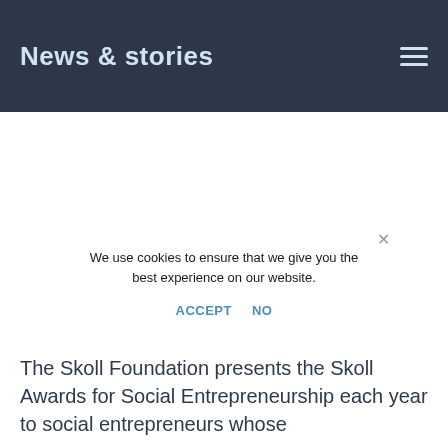News & stories
The Skoll Foundation presents the Skoll Awards for Social Entrepreneurship each year to social entrepreneurs whose
We use cookies to ensure that we give you the best experience on our website. ACCEPT NO